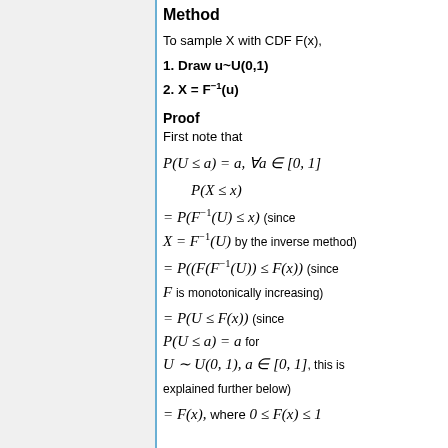Method
To sample X with CDF F(x),
1. Draw u~U(0,1)
2. X = F⁻¹(u)
Proof
First note that